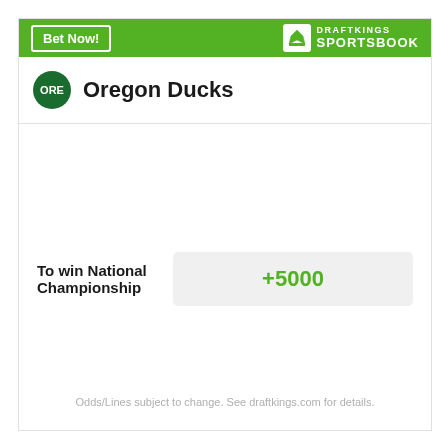[Figure (logo): DraftKings Sportsbook header bar with Bet Now button and DraftKings Sportsbook logo]
Oregon Ducks
To win National Championship
+5000
Odds/Lines subject to change. See draftkings.com for details.